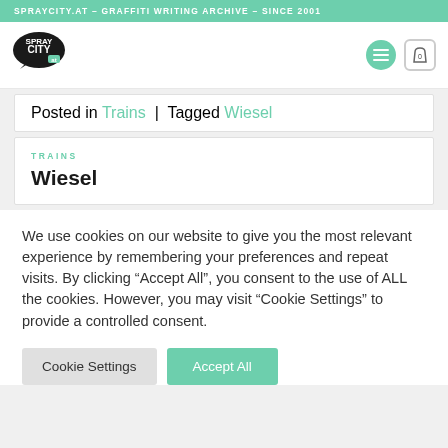SPRAYCITY.AT - GRAFFITI WRITING ARCHIVE - SINCE 2001
[Figure (logo): SprayCity.at logo - speech bubble shaped black logo with white text SPRAY CITY and green AT badge]
Posted in Trains | Tagged Wiesel
TRAINS
Wiesel
We use cookies on our website to give you the most relevant experience by remembering your preferences and repeat visits. By clicking “Accept All”, you consent to the use of ALL the cookies. However, you may visit "Cookie Settings" to provide a controlled consent.
Cookie Settings   Accept All